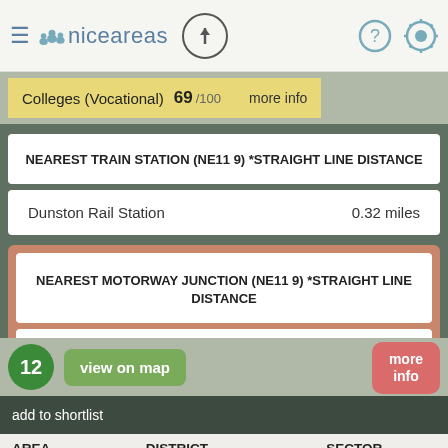niceareas
Colleges (Vocational) 69 /100 more info
NEAREST TRAIN STATION (NE11 9) *STRAIGHT LINE DISTANCE
Dunston Rail Station   0.32 miles
NEAREST MOTORWAY JUNCTION (NE11 9) *STRAIGHT LINE DISTANCE
A194(M) J1   4.82 miles
12   view on map   more info
add to shortlist
| AREA | DISTRICT | SECTOR |
| --- | --- | --- |
| NE | NE15 | NE15 6 |